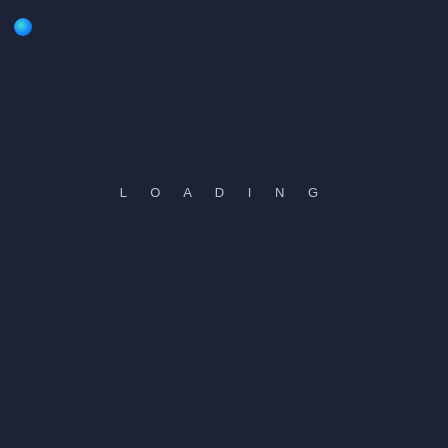[Figure (logo): Small circular logo dot in teal/blue gradient at top-left corner]
L O A D I N G
[Figure (infographic): Horizontal progress bar, partially filled in blue (approximately 35-40% complete) on a dark background track]